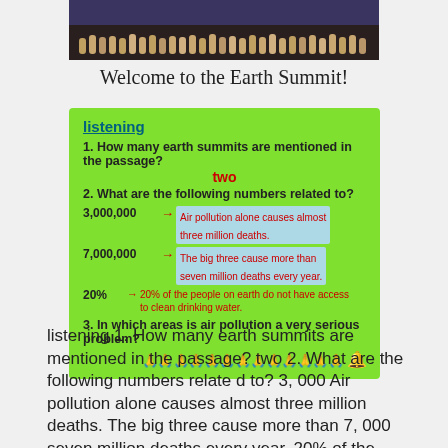[Figure (photo): A crowd of people on a stage or auditorium, dark background, appearing to be an event or summit gathering.]
Welcome to the Earth Summit!
[Figure (screenshot): Green box with listening exercise. Q1: How many earth summits are mentioned in the passage? Answer: two. Q2: What are the following numbers related to? 3,000,000 - Air pollution alone causes almost three million deaths. 7,000,000 - The big three cause more than seven million deaths every year. 20% - 20% of the people on earth do not have access to clean drinking water. Q3: In which areas is air pollution a very serious problem?]
listening 1. How many earth summits are mentioned in the passage? two 2. What are the following numbers relate d to? 3, 000 Air pollution alone causes almost three million deaths. The big three cause more than 7, 000 seven million deaths every year. 20% of the people on earth do not have access to clean d